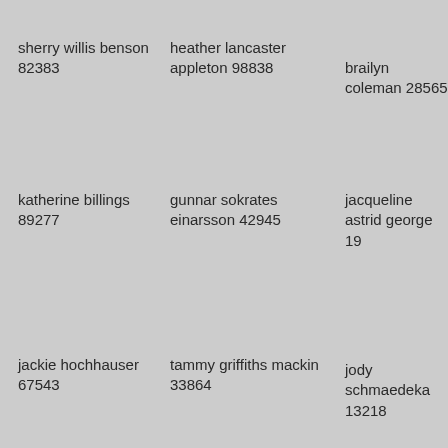sherry willis benson 82383
heather lancaster appleton 98838
brailyn coleman 28565
katherine billings 89277
gunnar sokrates einarsson 42945
jacqueline astrid george 19
jackie hochhauser 67543
tammy griffiths mackin 33864
jody schmaedeka 13218